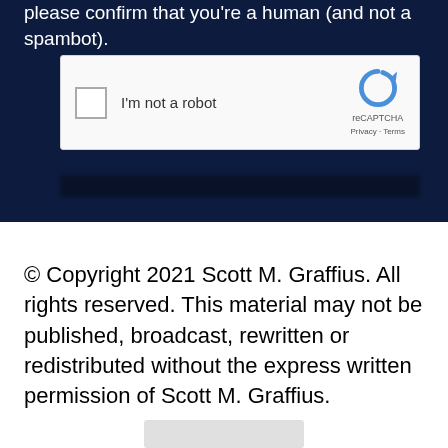please confirm that you're a human (and not a spambot).
[Figure (screenshot): reCAPTCHA widget with checkbox labeled 'I'm not a robot' and reCAPTCHA logo with Privacy and Terms links]
© Copyright 2021 Scott M. Graffius. All rights reserved. This material may not be published, broadcast, rewritten or redistributed without the express written permission of Scott M. Graffius.